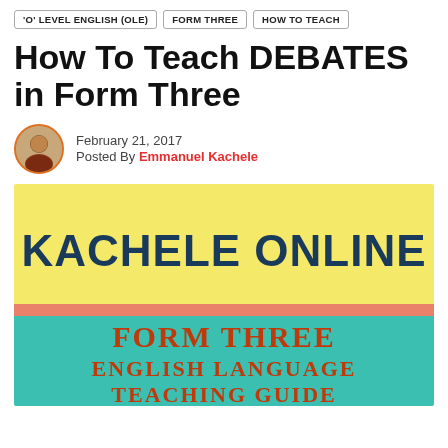'O' LEVEL ENGLISH (OLE)  |  FORM THREE  |  HOW TO TEACH
How To Teach DEBATES in Form Three
February 21, 2017
Posted By Emmanuel Kachele
[Figure (illustration): Book cover image with yellow top section showing 'KACHELE ONLINE' in dark teal bold text, a narrow salmon/coral dividing band, and teal bottom section showing 'FORM THREE ENGLISH LANGUAGE TEACHING GUIDE' in orange/red bold text.]